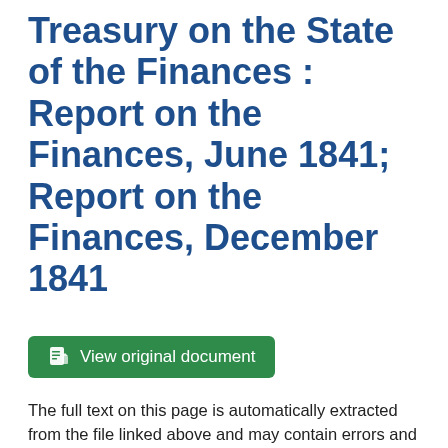Treasury on the State of the Finances : Report on the Finances, June 1841; Report on the Finances, December 1841
[Figure (other): Green button labeled 'View original document' with a document icon]
The full text on this page is automatically extracted from the file linked above and may contain errors and inconsistencies.
| TABLE OF CONTENTS. |
| Page |
| Report by |
| FORM... |